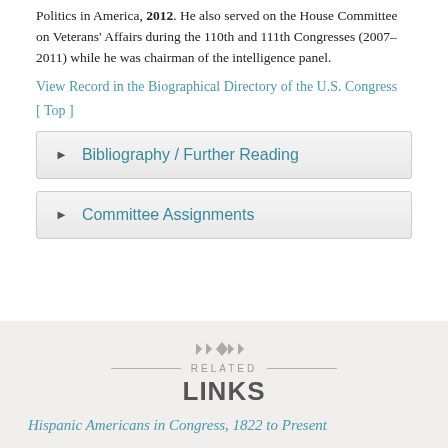Politics in America, 2012. He also served on the House Committee on Veterans' Affairs during the 110th and 111th Congresses (2007–2011) while he was chairman of the intelligence panel.
View Record in the Biographical Directory of the U.S. Congress
[ Top ]
Bibliography / Further Reading
Committee Assignments
RELATED LINKS
Hispanic Americans in Congress, 1822 to Present